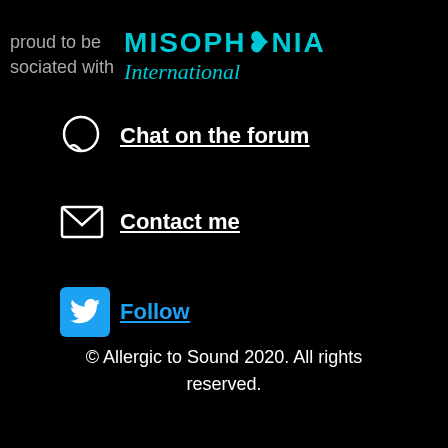[Figure (logo): Misophonia International logo with text 'proud to be associated with' and the Misophonia International logo in teal]
Chat on the forum
Contact me
Follow
© Allergic to Sound 2020. All rights reserved.